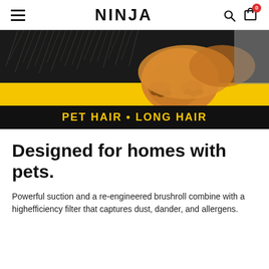NINJA
[Figure (photo): Hero banner image showing a golden retriever dog lying down with a yellow and black background. Text overlay reads 'PET HAIR • LONG HAIR' in yellow bold text on a black band.]
Designed for homes with pets.
Powerful suction and a re-engineered brushroll combine with a highefficiency filter that captures dust, dander, and allergens.